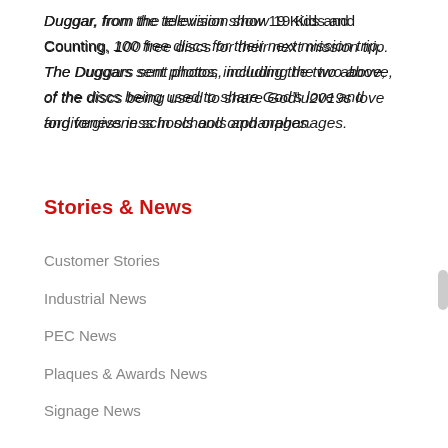Duggar, from the television show 19 Kids and Counting, 100 free discs for their next mission trip. The Duggars sent photos, including the two above, of the discs being used to share God’s love and forgiveness in schools and orphanages.
Stories & News
Customer Stories
Industrial News
PEC News
Plaques & Awards News
Signage News